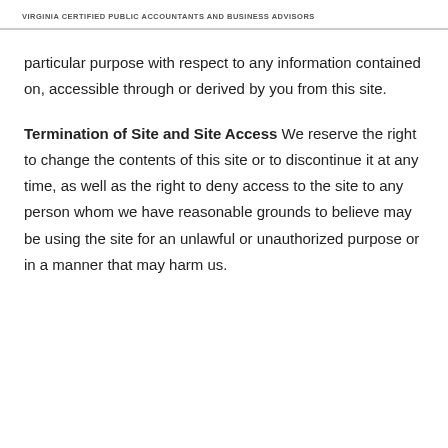VIRGINIA CERTIFIED PUBLIC ACCOUNTANTS AND BUSINESS ADVISORS
particular purpose with respect to any information contained on, accessible through or derived by you from this site.
Termination of Site and Site Access We reserve the right to change the contents of this site or to discontinue it at any time, as well as the right to deny access to the site to any person whom we have reasonable grounds to believe may be using the site for an unlawful or unauthorized purpose or in a manner that may harm us.